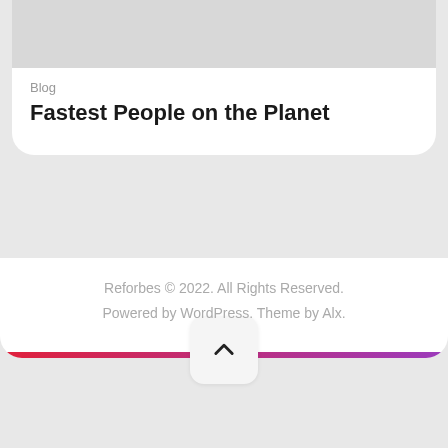[Figure (screenshot): Gray image placeholder at top of card]
Blog
Fastest People on the Planet
[Figure (illustration): Gradient bar from red to purple at bottom of card, with upward chevron scroll-to-top button]
Reforbes © 2022. All Rights Reserved. Powered by WordPress. Theme by Alx.